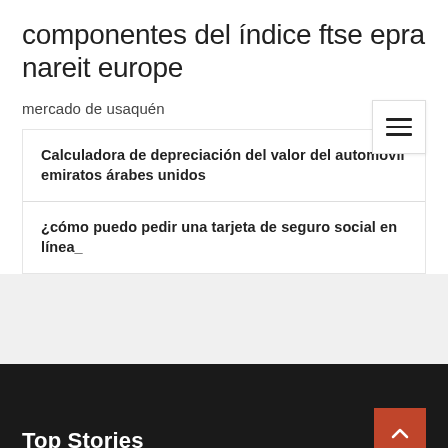componentes del índice ftse epra nareit europe
mercado de usaquén
Calculadora de depreciación del valor del automóvil emiratos árabes unidos
¿cómo puedo pedir una tarjeta de seguro social en línea_
Top Stories